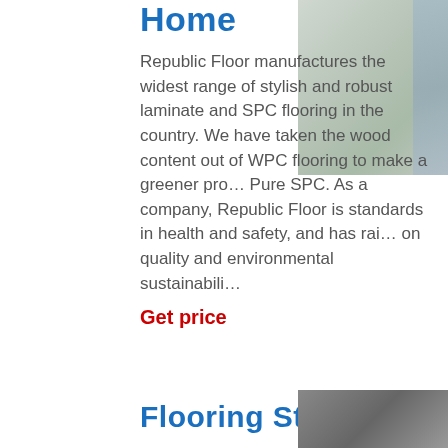Home
Republic Floor manufactures the widest range of stylish and robust laminate and SPC flooring in the country. We have taken the wood content out of WPC flooring to make a greener pro... Pure SPC. As a company, Republic Floor is standards in health and safety, and has rai... on quality and environmental sustainabili...
[Figure (photo): Photo of a room with light-colored flooring and curtains/plants visible, top right corner]
Get price
Flooring Store
[Figure (photo): Partial photo of a flooring store or room, bottom right corner]